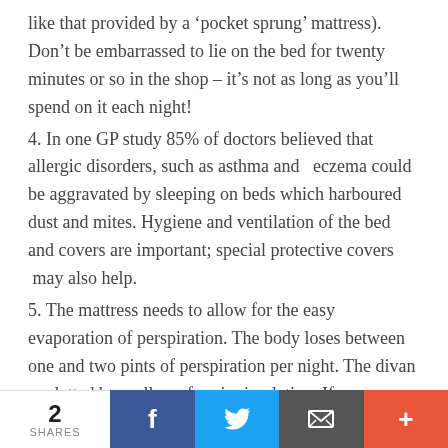like that provided by a ‘pocket sprung’ mattress). Don’t be embarrassed to lie on the bed for twenty minutes or so in the shop – it’s not as long as you’ll spend on it each night!
4. In one GP study 85% of doctors believed that allergic disorders, such as asthma and eczema could be aggravated by sleeping on beds which harboured dust and mites. Hygiene and ventilation of the bed and covers are important; special protective covers may also help.
5. The mattress needs to allow for the easy evaporation of perspiration. The body loses between one and two pints of perspiration per night. The divan or slatted base allows for air circulation. If you are going to put a board under